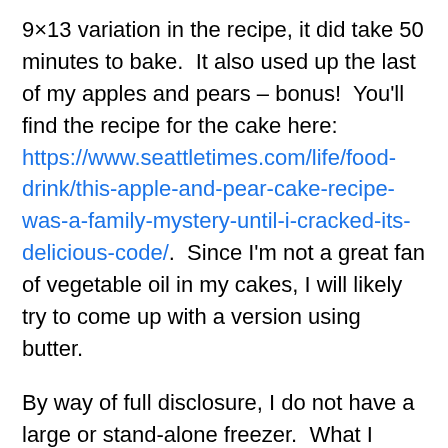9×13 variation in the recipe, it did take 50 minutes to bake. It also used up the last of my apples and pears – bonus! You'll find the recipe for the cake here: https://www.seattletimes.com/life/food-drink/this-apple-and-pear-cake-recipe-was-a-family-mystery-until-i-cracked-its-delicious-code/. Since I'm not a great fan of vegetable oil in my cakes, I will likely try to come up with a version using butter.
By way of full disclosure, I do not have a large or stand-alone freezer. What I purchase must fit in my refrigerator freezer and it does get tight. 😊 In addition, We conscientiously budget for what we spend monthly on food (actually, we budget for everything so we never have to have anything on credit). I'm particularly interested in items that are on special from the on-line vendors I use. I do not use affiliate links here since I feel strongly about